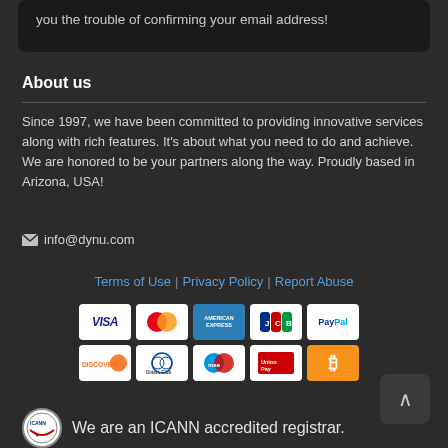you the trouble of confirming your email address!
About us
Since 1997, we have been committed to providing innovative services along with rich features. It's about what you need to do and achieve. We are honored to be your partners along the way. Proudly based in Arizona, USA!
info@dynu.com
Terms of Use | Privacy Policy | Report Abuse
[Figure (other): Payment method icons: VISA, MasterCard, American Express, JCB, PayPal, Discover, Diners Club International, Maestro, UnionPay, Bitcoin]
We are an ICANN accredited registrar.